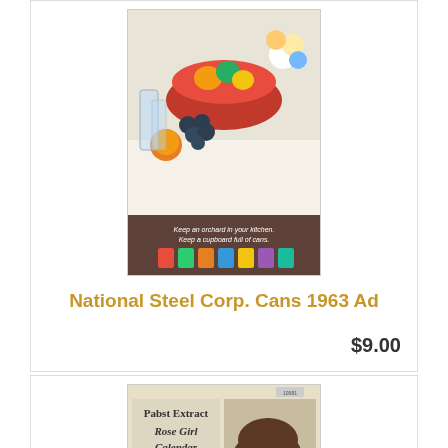[Figure (photo): National Steel Corp. Cans 1963 advertisement showing fruit bowl and canned goods]
National Steel Corp. Cans 1963 Ad
$9.00
[Figure (photo): Pabst Extract Rose Girl Calendar for 1909 advertisement with woman illustration]